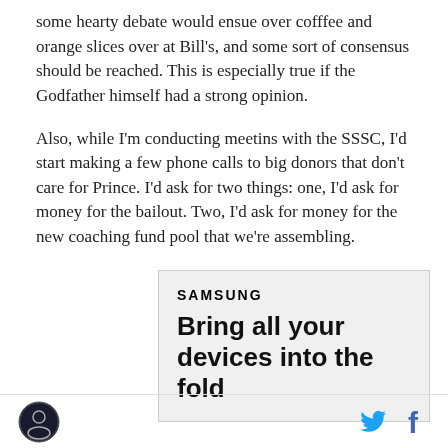some hearty debate would ensue over cofffee and orange slices over at Bill's, and some sort of consensus should be reached.  This is especially true if the Godfather himself had a strong opinion.
Also, while I'm conducting meetins with the SSSC, I'd start making a few phone calls to big donors that don't care for Prince.  I'd ask for two things: one, I'd ask for money for the bailout.  Two, I'd ask for money for the new coaching fund pool that we're assembling.
[Figure (other): Samsung advertisement showing 'SAMSUNG' logo in bold uppercase letters and text 'Bring all your devices into the fold' on a light gray background]
Footer with circular logo on left, Twitter bird icon and Facebook 'f' icon on right